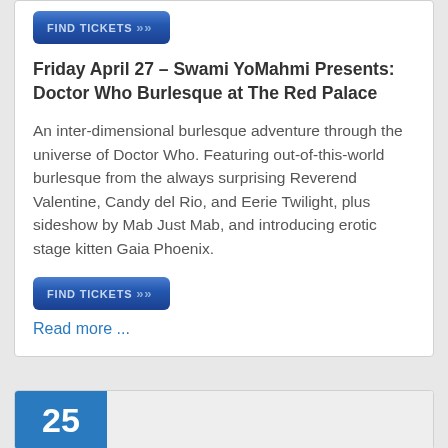[Figure (other): Find Tickets button (top, partially visible)]
Friday April 27 – Swami YoMahmi Presents: Doctor Who Burlesque at The Red Palace
An inter-dimensional burlesque adventure through the universe of Doctor Who. Featuring out-of-this-world burlesque from the always surprising Reverend Valentine, Candy del Rio, and Eerie Twilight, plus sideshow by Mab Just Mab, and introducing erotic stage kitten Gaia Phoenix.
[Figure (other): Find Tickets button]
Read more ...
[Figure (other): Second event card partially visible, showing blue date box with number 25]